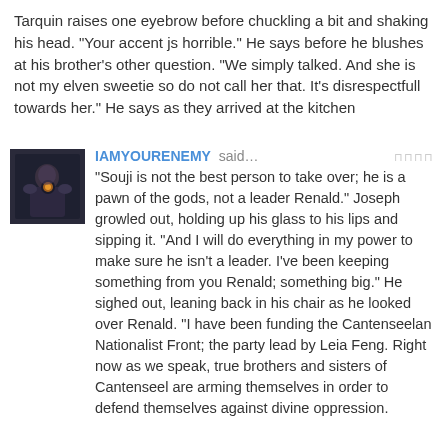Tarquin raises one eyebrow before chuckling a bit and shaking his head. "Your accent js horrible." He says before he blushes at his brother's other question. "We simply talked. And she is not my elven sweetie so do not call her that. It's disrespectfull towards her." He says as they arrived at the kitchen
[Figure (photo): Avatar/profile picture showing a dark fantasy character with glowing elements, dark armored figure]
IAMYOURENEMY said… "Souji is not the best person to take over; he is a pawn of the gods, not a leader Renald." Joseph growled out, holding up his glass to his lips and sipping it. "And I will do everything in my power to make sure he isn't a leader. I've been keeping something from you Renald; something big." He sighed out, leaning back in his chair as he looked over Renald. "I have been funding the Cantenseelan Nationalist Front; the party lead by Leia Feng. Right now as we speak, true brothers and sisters of Cantenseel are arming themselves in order to defend themselves against divine oppression.